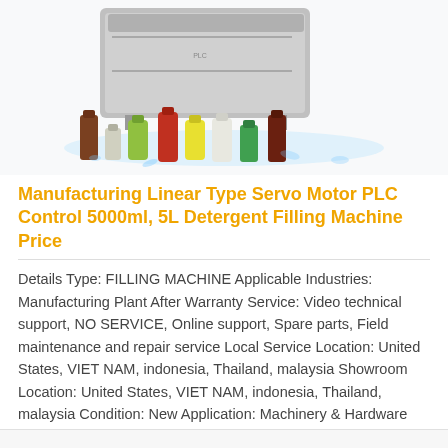[Figure (photo): Product photo of a linear type servo motor PLC control filling machine with various bottles of detergent/liquid products in front, water splash effect in the background]
Manufacturing Linear Type Servo Motor PLC Control 5000ml, 5L Detergent Filling Machine Price
Details Type: FILLING MACHINE Applicable Industries: Manufacturing Plant After Warranty Service: Video technical support, NO SERVICE, Online support, Spare parts, Field maintenance and repair service Local Service Location: United States, VIET NAM, indonesia, Thailand, malaysia Showroom Location: United States, VIET NAM, indonesia, Thailand, malaysia Condition: New Application: Machinery & Hardware Packaging Type: cartons Packaging Material: wood Automatic Grade: Automatic Driven ...
Read More